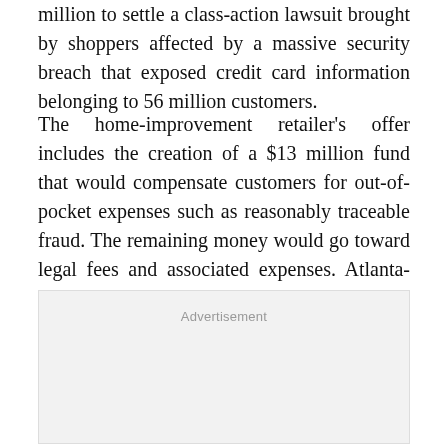million to settle a class-action lawsuit brought by shoppers affected by a massive security breach that exposed credit card information belonging to 56 million customers.
The home-improvement retailer's offer includes the creation of a $13 million fund that would compensate customers for out-of-pocket expenses such as reasonably traceable fraud. The remaining money would go toward legal fees and associated expenses. Atlanta-based Home Depot also promised Tuesday to adopt new data security measures to protect its customers' personal and financial information.
[Figure (other): Advertisement placeholder box with 'Advertisement' label text centered near the top]